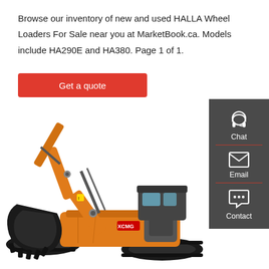Browse our inventory of new and used HALLA Wheel Loaders For Sale near you at MarketBook.ca. Models include HA290E and HA380. Page 1 of 1.
[Figure (other): Red button labeled 'Get a quote']
[Figure (photo): Yellow XCMG excavator/crawler digger on white background, with large bucket arm extended to the left]
[Figure (infographic): Dark grey sidebar with three icons and labels: Chat (headset icon), Email (envelope icon), Contact (speech bubble with dots icon), separated by red dividers]